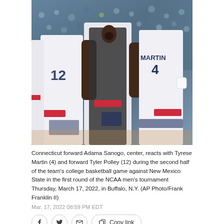[Figure (photo): Connecticut basketball players celebrating on court during NCAA tournament game. Center player (Adama Sanogo) reacts with mouth open, flanked by Tyrese Martin (#4, MARTIN jersey) on right and Tyler Polley (#12) on left, all wearing white UConn uniforms with navy/red accents.]
Connecticut forward Adama Sanogo, center, reacts with Tyrese Martin (4) and forward Tyler Polley (12) during the second half of the team's college basketball game against New Mexico State in the first round of the NCAA men's tournament Thursday, March 17, 2022, in Buffalo, N.Y. (AP Photo/Frank Franklin II)
Mar. 17, 2022 08:59 PM EDT